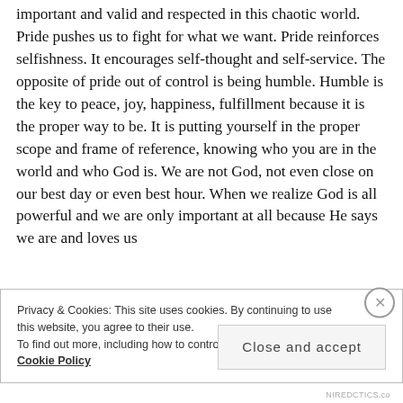important and valid and respected in this chaotic world. Pride pushes us to fight for what we want. Pride reinforces selfishness. It encourages self-thought and self-service. The opposite of pride out of control is being humble. Humble is the key to peace, joy, happiness, fulfillment because it is the proper way to be. It is putting yourself in the proper scope and frame of reference, knowing who you are in the world and who God is. We are not God, not even close on our best day or even best hour. When we realize God is all powerful and we are only important at all because He says we are and loves us
Privacy & Cookies: This site uses cookies. By continuing to use this website, you agree to their use.
To find out more, including how to control cookies, see here:
Cookie Policy
Close and accept
NIREDCTICS.co